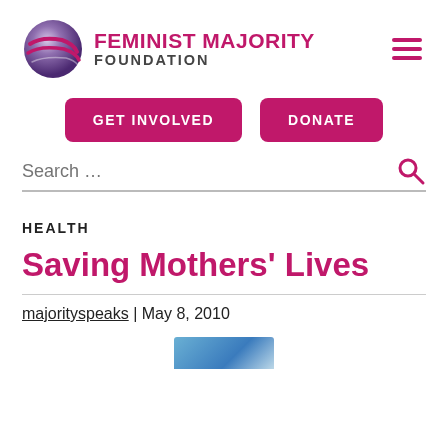[Figure (logo): Feminist Majority Foundation logo with globe and text]
GET INVOLVED
DONATE
Search …
HEALTH
Saving Mothers' Lives
majorityspeaks | May 8, 2010
[Figure (photo): Partial image preview at bottom of page]